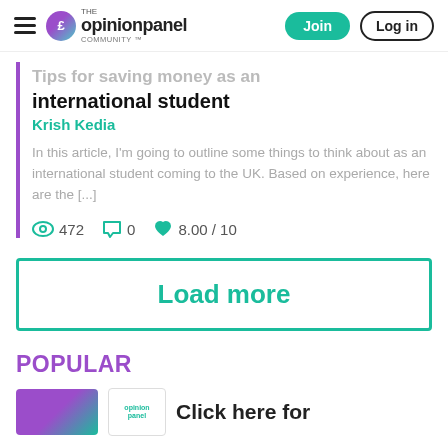The Opinion Panel Community — Join | Log in
Tips for saving money as an international student
Krish Kedia
In this article, I'm going to outline some things to think about as an international student coming to the UK. Based on experience, here are the [...]
472  0  8.00 / 10
Load more
POPULAR
Click here for